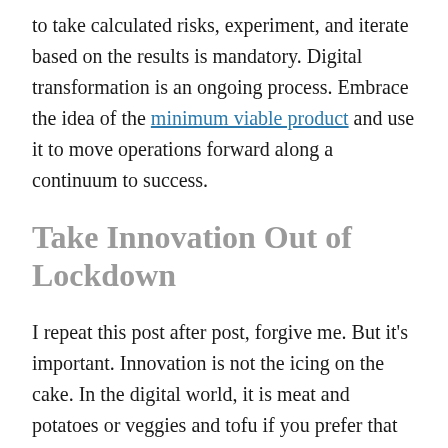to take calculated risks, experiment, and iterate based on the results is mandatory. Digital transformation is an ongoing process. Embrace the idea of the minimum viable product and use it to move operations forward along a continuum to success.
Take Innovation Out of Lockdown
I repeat this post after post, forgive me. But it's important. Innovation is not the icing on the cake. In the digital world, it is meat and potatoes or veggies and tofu if you prefer that analogy.